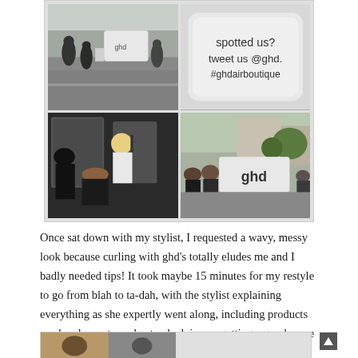[Figure (photo): A 2x2 grid of photos showing the ghd air boutique event. Top-left: street scene with ghd branded caravan/trailer and people outside. Top-right: close-up sign reading 'spotted us? tweet us @ghd. #ghdairboutique'. Bottom-left: interior of the boutique caravan with a blonde stylist working on a client's hair, black and white tones. Bottom-right: outdoor street scene with ghd branded caravan and people queuing outside, with buildings and trees in background.]
Once sat down with my stylist, I requested a wavy, messy look because curling with ghd's totally eludes me and I badly needed tips! It took maybe 15 minutes for my restyle to go from blah to ta-dah, with the stylist explaining everything as she expertly went along, including products used and easy to understand advice on getting a good wave rather than a ringlet! I loved my finished look!
[Figure (photo): Bottom strip showing partial photos of the ghd boutique event, partially cut off at bottom of page.]